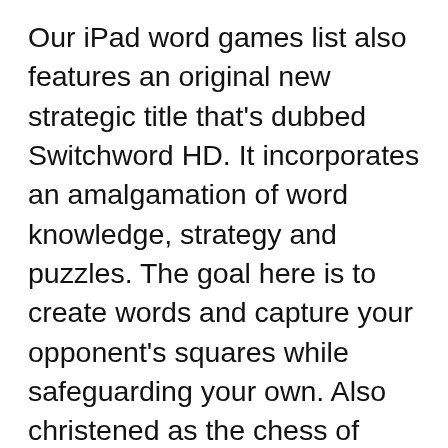Our iPad word games list also features an original new strategic title that's dubbed Switchword HD. It incorporates an amalgamation of word knowledge, strategy and puzzles. The goal here is to create words and capture your opponent's squares while safeguarding your own. Also christened as the chess of word games, this title features 26 computer players, each possessing varied skill and vocabulary levels. And if you want to compete against a friend or sibling, you can avail of the two-player